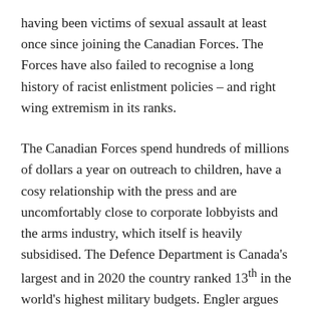having been victims of sexual assault at least once since joining the Canadian Forces. The Forces have also failed to recognise a long history of racist enlistment policies – and right wing extremism in its ranks.
The Canadian Forces spend hundreds of millions of dollars a year on outreach to children, have a cosy relationship with the press and are uncomfortably close to corporate lobbyists and the arms industry, which itself is heavily subsidised. The Defence Department is Canada's largest and in 2020 the country ranked 13th in the world's highest military budgets. Engler argues that the military has a predilection for war, in part to justify its bloated expenditure.